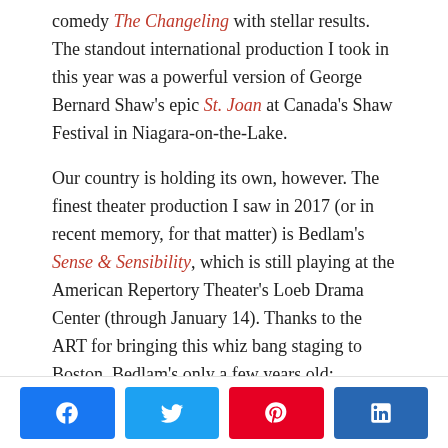comedy The Changeling with stellar results. The standout international production I took in this year was a powerful version of George Bernard Shaw's epic St. Joan at Canada's Shaw Festival in Niagara-on-the-Lake.
Our country is holding its own, however. The finest theater production I saw in 2017 (or in recent memory, for that matter) is Bedlam's Sense & Sensibility, which is still playing at the American Repertory Theater's Loeb Drama Center (through January 14). Thanks to the ART for bringing this whiz bang staging to Boston. Bedlam's only a few years old; gloriously, their best days are most likely ahead of them.
[Figure (infographic): Social sharing buttons: Facebook (blue), Twitter (light blue), Pinterest (red), LinkedIn (dark blue)]